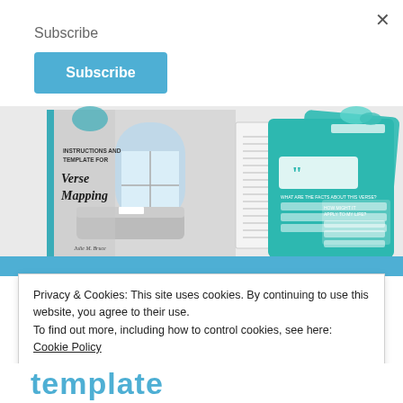Subscribe
Subscribe (button)
[Figure (illustration): Book covers showing 'Instructions and Template for Verse Mapping' by Julie M. Bruce, displayed alongside teal-colored worksheet templates with lined sections and quote marks.]
Privacy & Cookies: This site uses cookies. By continuing to use this website, you agree to their use.
To find out more, including how to control cookies, see here: Cookie Policy
Close and accept
Template